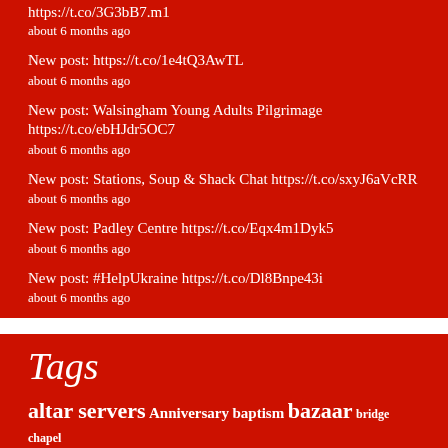https://t.co/3G3bB7.m1
about 6 months ago
New post: https://t.co/1e4tQ3AwTL
about 6 months ago
New post: Walsingham Young Adults Pilgrimage https://t.co/ebHJdr5OC7
about 6 months ago
New post: Stations, Soup & Shack Chat https://t.co/sxyJ6aVcRR
about 6 months ago
New post: Padley Centre https://t.co/Eqx4m1Dyk5
about 6 months ago
New post: #HelpUkraine https://t.co/Dl8Bnpe43i
about 6 months ago
Tags
altar servers Anniversary baptism bazaar bridge chapel christmas confirmation Easter